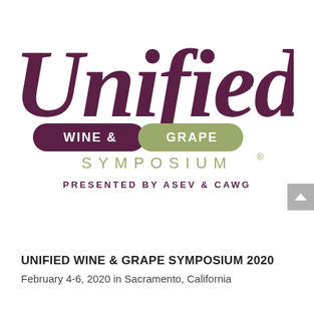[Figure (logo): Unified Wine & Grape Symposium logo with large italic 'Unified' text in dark purple, 'WINE & GRAPE' in pill-shaped banners (dark purple and olive green), 'SYMPOSIUM®' in olive green spaced letters, and 'PRESENTED BY ASEV & CAWG' in dark purple below.]
UNIFIED WINE & GRAPE SYMPOSIUM 2020
February 4-6, 2020 in Sacramento, California